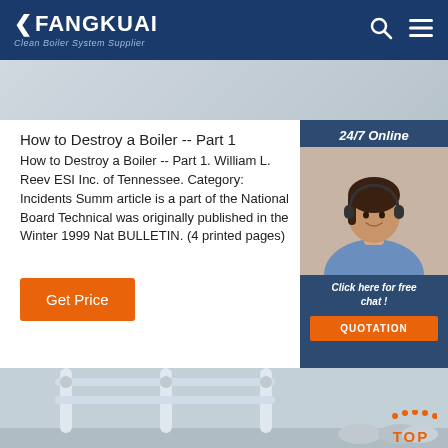FANGKUAI — Clean Boiler System Supplier
[Figure (photo): Top banner image strip, light gray/blue gradient]
How to Destroy a Boiler -- Part 1
How to Destroy a Boiler -- Part 1. William L. Reev ESI Inc. of Tennessee. Category: Incidents Summ article is a part of the National Board Technical was originally published in the Winter 1999 Nat BULLETIN. (4 printed pages)
[Figure (photo): Sidebar: 24/7 Online banner with customer service representative photo, Click here for free chat!, QUOTATION button]
[Figure (other): Get Price orange button]
[Figure (photo): Bottom image of boiler/industrial piping equipment with TOP navigation button in orange]